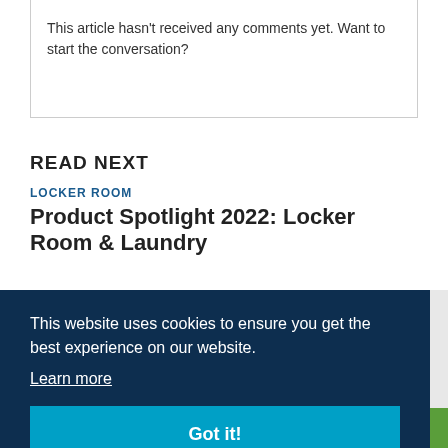This article hasn't received any comments yet. Want to start the conversation?
READ NEXT
LOCKER ROOM
Product Spotlight 2022: Locker Room & Laundry
This website uses cookies to ensure you get the best experience on our website.
Learn more
Got it!